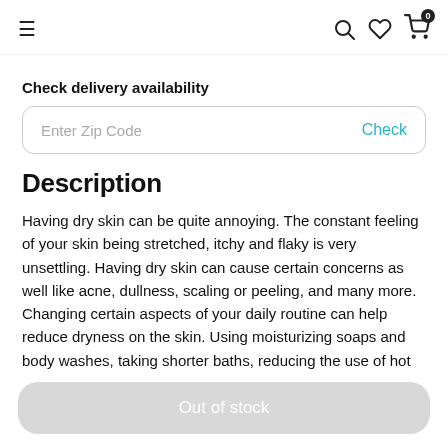≡   🔍 ♡ 🛒 0
Check delivery availability
Enter Zip Code   Check
Description
Having dry skin can be quite annoying. The constant feeling of your skin being stretched, itchy and flaky is very unsettling. Having dry skin can cause certain concerns as well like acne, dullness, scaling or peeling, and many more. Changing certain aspects of your daily routine can help reduce dryness on the skin. Using moisturizing soaps and body washes, taking shorter baths, reducing the use of hot water on the skin, moisturizing right after the shower, pat the skin with a soft towel instead of rubbing it, etc can make a huge
Out of stock